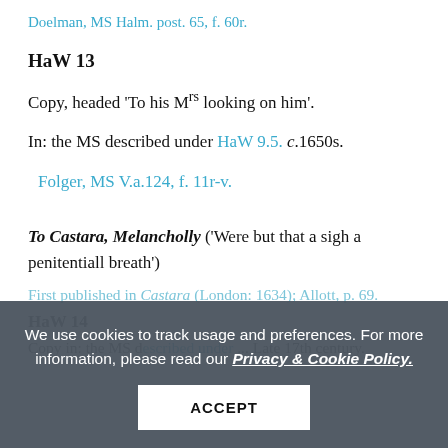Doelman, MS Halm. post. 65, f. 60r.
HaW 13
Copy, headed 'To his Mrs looking on him'.
In: the MS described under HaW 9.5. c.1650s.
Folger, MS V.a.124, f. 11r-v.
To Castara, Melancholly ('Were but that a sigh a penitentiall breath')
First published in Castara (London: 1634); Allott, p. 69.
HaW 14
Copy in: the MS described under ... Late 17th century.
We use cookies to track usage and preferences. For more information, please read our Privacy & Cookie Policy.
ACCEPT